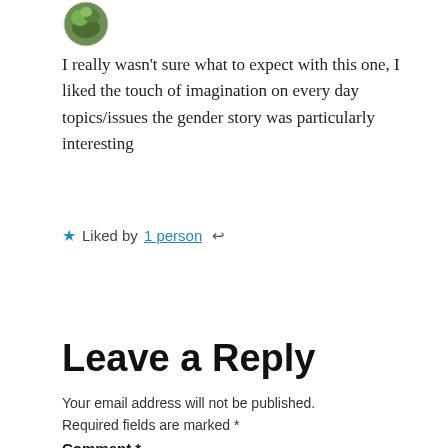[Figure (photo): Circular avatar image with green/brown nature scene]
I really wasn't sure what to expect with this one, I liked the touch of imagination on every day topics/issues the gender story was particularly interesting
★ Liked by 1 person ↩
Leave a Reply
Your email address will not be published. Required fields are marked *
Comment *